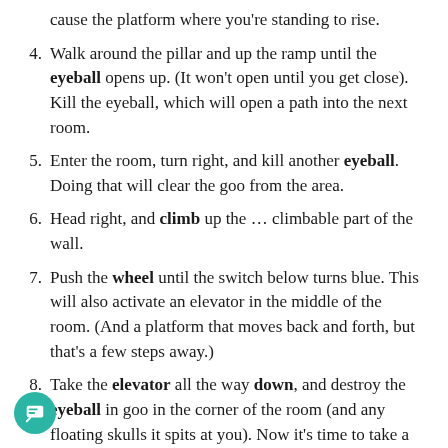cause the platform where you're standing to rise.
4. Walk around the pillar and up the ramp until the eyeball opens up. (It won't open until you get close). Kill the eyeball, which will open a path into the next room.
5. Enter the room, turn right, and kill another eyeball. Doing that will clear the goo from the area.
6. Head right, and climb up the … climbable part of the wall.
7. Push the wheel until the switch below turns blue. This will also activate an elevator in the middle of the room. (And a platform that moves back and forth, but that's a few steps away.)
8. Take the elevator all the way down, and destroy the eyeball in goo in the corner of the room (and any floating skulls it spits at you). Now it's time to take a couple of trips on the elevator.